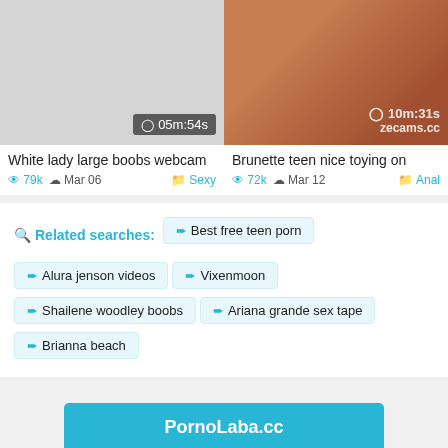[Figure (screenshot): Video thumbnail - light gray placeholder with duration overlay showing 05m:54s]
[Figure (photo): Video thumbnail - brunette photo with duration overlay showing 10m:31s and zecams.cc watermark]
White lady large boobs webcam
79k  Mar 06  Sexy
Brunette teen nice toying on
72k  Mar 12  Anal
Related searches:  Best free teen porn  Alura jenson videos  Vixenmoon  Shailene woodley boobs  Ariana grande sex tape  Brianna beach
PornoLaba.cc
Content Removal